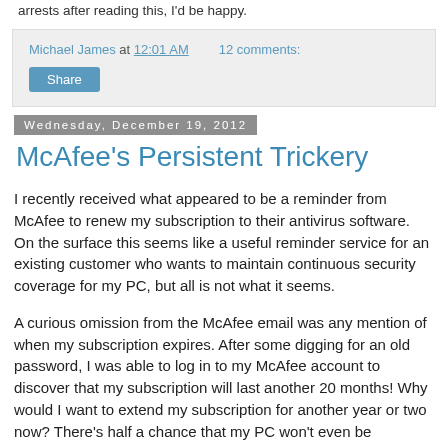arrests after reading this, I'd be happy.
Michael James at 12:01 AM   12 comments:
Share
Wednesday, December 19, 2012
McAfee's Persistent Trickery
I recently received what appeared to be a reminder from McAfee to renew my subscription to their antivirus software. On the surface this seems like a useful reminder service for an existing customer who wants to maintain continuous security coverage for my PC, but all is not what it seems.
A curious omission from the McAfee email was any mention of when my subscription expires. After some digging for an old password, I was able to log in to my McAfee account to discover that my subscription will last another 20 months! Why would I want to extend my subscription for another year or two now? There's half a chance that my PC won't even be